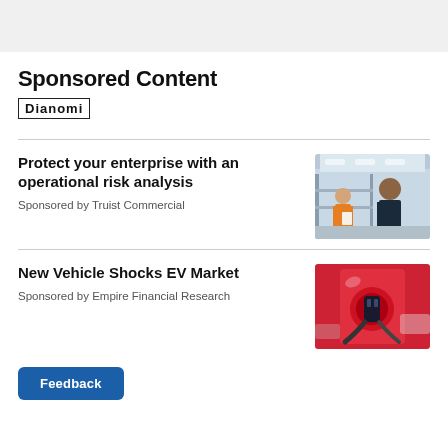Sponsored Content
[Figure (logo): Dianomi logo with border]
Protect your enterprise with an operational risk analysis
Sponsored by Truist Commercial
[Figure (photo): Warehouse scene with two workers, one in orange vest]
New Vehicle Shocks EV Market
Sponsored by Empire Financial Research
[Figure (photo): Red electric vehicle charging port close-up]
Feedback